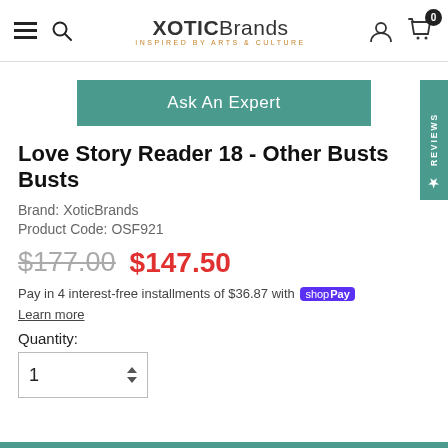XoticBrands – Inspired by Arts & Culture
Ask An Expert
Love Story Reader 18 - Other Busts Busts
Brand: XoticBrands
Product Code: OSF921
$177.00  $147.50
Pay in 4 interest-free installments of $36.87 with shop Pay
Learn more
Quantity:
1